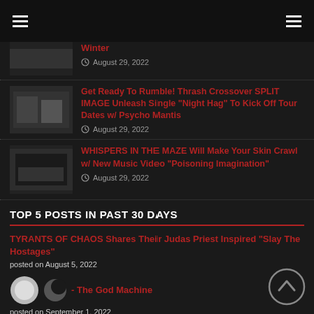Winter
August 29, 2022
Get Ready To Rumble! Thrash Crossover SPLIT IMAGE Unleash Single "Night Hag" To Kick Off Tour Dates w/ Psycho Mantis
August 29, 2022
WHISPERS IN THE MAZE Will Make Your Skin Crawl w/ New Music Video "Poisoning Imagination"
August 29, 2022
TOP 5 POSTS IN PAST 30 DAYS
TYRANTS OF CHAOS Shares Their Judas Priest Inspired "Slay The Hostages"
posted on August 5, 2022
Bl... - The God Machine
posted on September 1, 2022